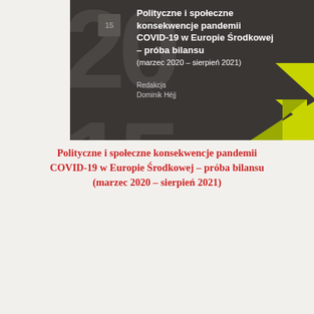[Figure (illustration): Dark book cover with title in Polish: Polityczne i społeczne konsekwencje pandemii COVID-19 w Europie Środkowej – próba bilansu (marzec 2020 – sierpień 2021), edited by Dominik Héjj, with yellow geometric triangles]
Polityczne i społeczne konsekwencje pandemii COVID-19 w Europie Środkowej – próba bilansu (marzec 2020 – sierpień 2021)
[Figure (illustration): Blue journal cover with PRACE Instytutu Europy Środkowej label and Nr 10/2021]